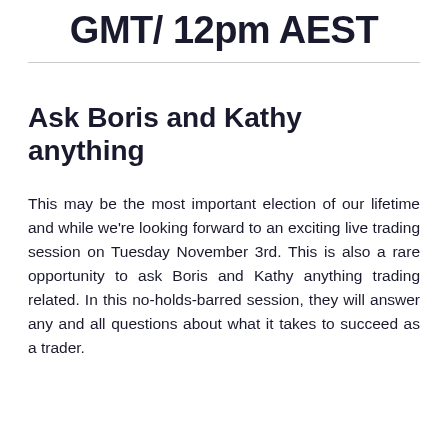GMT/ 12pm AEST
Ask Boris and Kathy anything
This may be the most important election of our lifetime and while we're looking forward to an exciting live trading session on Tuesday November 3rd. This is also a rare opportunity to ask Boris and Kathy anything trading related. In this no-holds-barred session, they will answer any and all questions about what it takes to succeed as a trader.